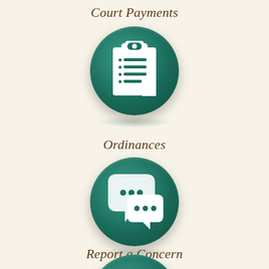Court Payments
[Figure (illustration): Teal circular button icon with white clipboard/checklist icon on cream background]
Ordinances
[Figure (illustration): Teal circular button icon with white speech bubbles/chat icon on cream background]
Report a Concern
[Figure (illustration): Teal circular button icon partially visible at bottom of page on cream background]